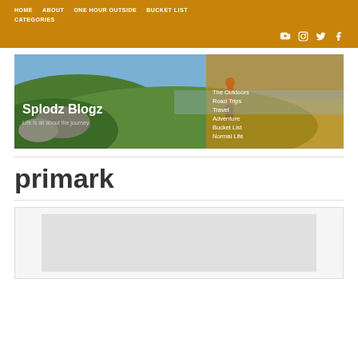HOME   ABOUT   ONE HOUR OUTSIDE   BUCKET LIST   CATEGORIES
[Figure (illustration): Blog banner image showing a person in a red jacket standing on a green hillside with a cityscape in the background. Overlaid text: 'Splodz Blogz' and 'Life is all about the journey.' on left side; 'The Outdoors Road Trips Travel Adventure Bucket List Normal Life' on the right side with a golden/amber semi-transparent overlay.]
primark
[Figure (other): A blank/grey card placeholder area at the bottom of the page.]